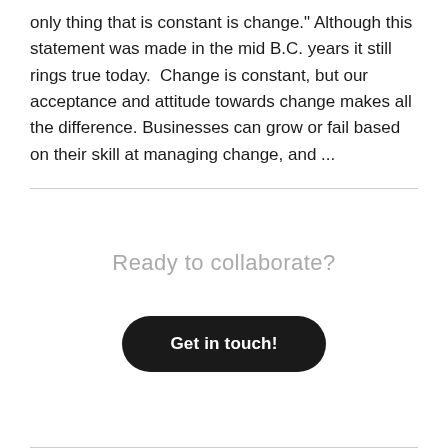only thing that is constant is change." Although this statement was made in the mid B.C. years it still rings true today.  Change is constant, but our acceptance and attitude towards change makes all the difference. Businesses can grow or fail based on their skill at managing change, and ...
Ready to collaborate?
Get in touch!